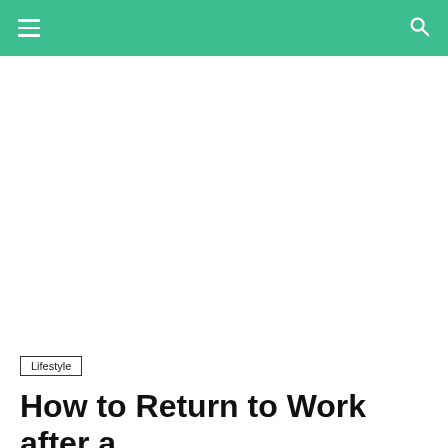[Figure (photo): Large white/blank image area below navigation bar]
Lifestyle
How to Return to Work after a